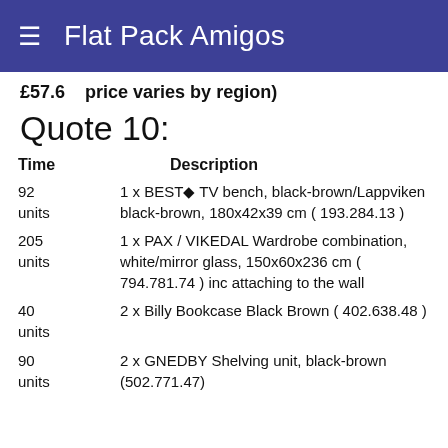Flat Pack Amigos
£57.6    price varies by region)
Quote 10:
| Time | Description |
| --- | --- |
| 92 units | 1 x BEST◆ TV bench, black-brown/Lappviken black-brown, 180x42x39 cm ( 193.284.13 ) |
| 205 units | 1 x PAX / VIKEDAL Wardrobe combination, white/mirror glass, 150x60x236 cm ( 794.781.74 ) inc attaching to the wall |
| 40 units | 2 x Billy Bookcase Black Brown ( 402.638.48 ) |
| 90 units | 2 x GNEDBY Shelving unit, black-brown (502.771.47) |